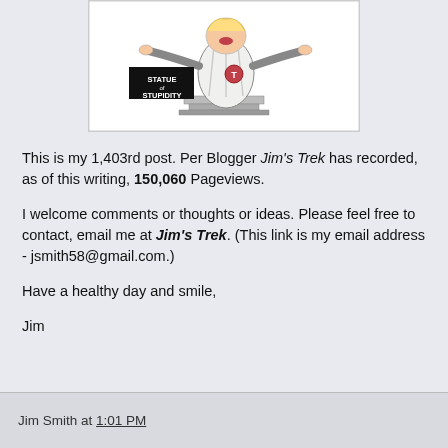[Figure (illustration): A cartoon illustration of a figure labeled 'Statue of Stupidity' standing on a pedestal, with arms outstretched and mouth open, wearing a white robe with a circular emblem.]
This is my 1,403rd post. Per Blogger Jim's Trek has recorded, as of this writing, 150,060 Pageviews.
I welcome comments or thoughts or ideas. Please feel free to contact, email me at Jim's Trek. (This link is my email address - jsmith58@gmail.com.)
Have a healthy day and smile,
Jim
Jim Smith at 1:01 PM